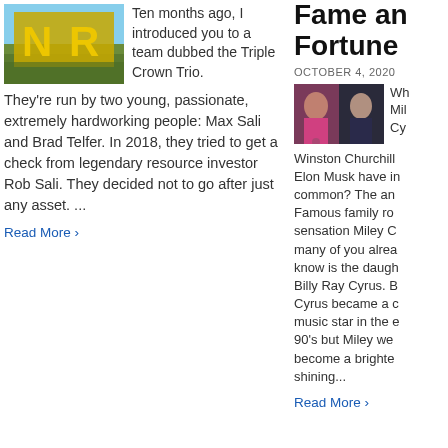[Figure (photo): Logo image with yellow NR letters on landscape background]
Ten months ago, I introduced you to a team dubbed the Triple Crown Trio. They're run by two young, passionate, extremely hardworking people: Max Sali and Brad Telfer. In 2018, they tried to get a check from legendary resource investor Rob Sali. They decided not to go after just any asset. ...
Read More ›
Fame and Fortune
OCTOBER 4, 2020
[Figure (photo): Photo collage with Miley Cyrus and Elon Musk]
Wh Mil Cy
Winston Churchill Elon Musk have in common? The an Famous family ro sensation Miley C many of you alrea know is the daugh Billy Ray Cyrus. B Cyrus became a c music star in the e 90's but Miley we become a brighte shining...
Read More ›